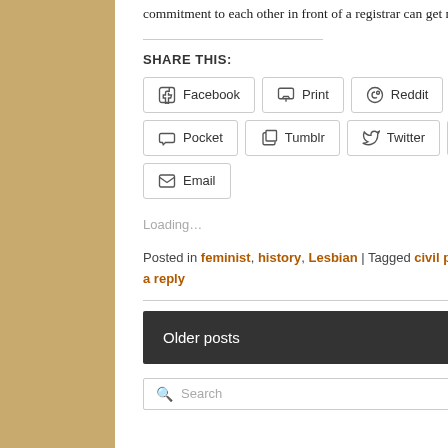commitment to each other in front of a registrar can get married next month, and we can't. How bloody ridiculous is that?
SHARE THIS:
Loading…
Posted in feminist, history, Lesbian | Tagged civil partnership, Gay Marriage, I.A.R. Wylie, lesbian authors, lesbian history | Leave a reply
Older posts
Search